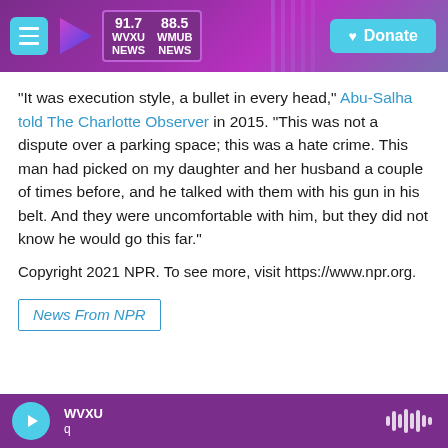91.7 WVXU NEWS | 88.5 WMUB NEWS | Donate
"It was execution style, a bullet in every head," Abu-Salha told The Charlotte Observer in 2015. "This was not a dispute over a parking space; this was a hate crime. This man had picked on my daughter and her husband a couple of times before, and he talked with them with his gun in his belt. And they were uncomfortable with him, but they did not know he would go this far."
Copyright 2021 NPR. To see more, visit https://www.npr.org.
News From NPR
WVXU q